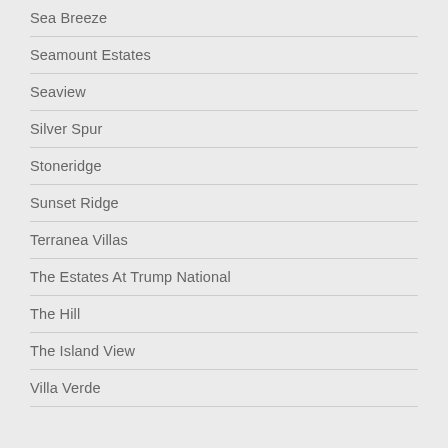Sea Breeze
Seamount Estates
Seaview
Silver Spur
Stoneridge
Sunset Ridge
Terranea Villas
The Estates At Trump National
The Hill
The Island View
Villa Verde